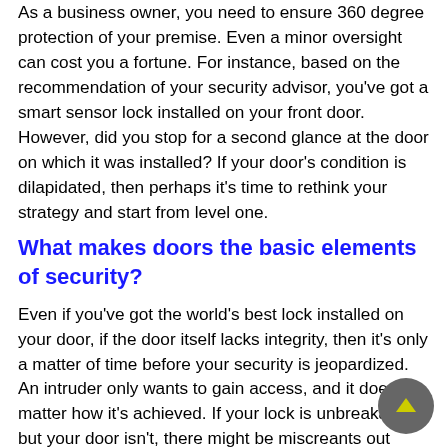As a business owner, you need to ensure 360 degree protection of your premise. Even a minor oversight can cost you a fortune. For instance, based on the recommendation of your security advisor, you've got a smart sensor lock installed on your front door. However, did you stop for a second glance at the door on which it was installed? If your door's condition is dilapidated, then perhaps it's time to rethink your strategy and start from level one.
What makes doors the basic elements of security?
Even if you've got the world's best lock installed on your door, if the door itself lacks integrity, then it's only a matter of time before your security is jeopardized. An intruder only wants to gain access, and it doesn't matter how it's achieved. If your lock is unbreakable but your door isn't, there might be miscreants out there who're waiting to exploit this lapse. Get the basics right. Sturdy doors bearing no signs of deterioration and supported by the